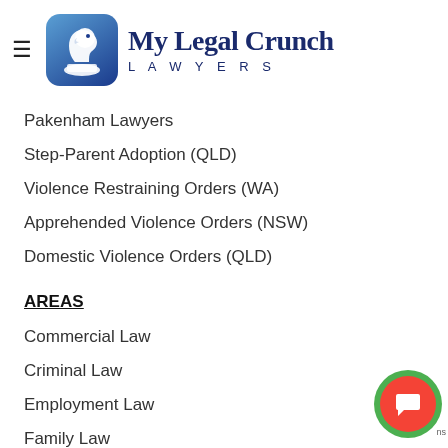[Figure (logo): My Legal Crunch Lawyers logo with chess knight icon and hamburger menu]
Pakenham Lawyers
Step-Parent Adoption (QLD)
Violence Restraining Orders (WA)
Apprehended Violence Orders (NSW)
Domestic Violence Orders (QLD)
AREAS
Commercial Law
Criminal Law
Employment Law
Family Law